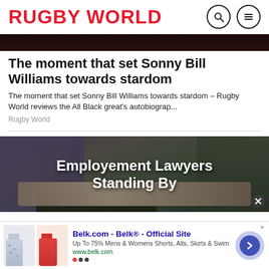RUGBY WORLD
[Figure (photo): Dark cropped photo strip showing a person in background, used as article header image]
The moment that set Sonny Bill Williams towards stardom
The moment that set Sonny Bill Williams towards stardom – Rugby World reviews the All Black great's autobiograp...
Rugby World
[Figure (photo): Advertisement banner showing two people shaking hands with text 'Employement Lawyers Standing By' overlaid in white bold text on dark background]
[Figure (infographic): Bottom advertisement for Belk.com showing two skirt product images, ad text 'Belk.com - Belk® - Official Site', description 'Up To 75% Mens & Womens Shorts, Alts, Skirts & Swim', URL 'www.belk.com', and a blue arrow button]